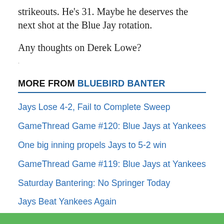strikeouts. He's 31. Maybe he deserves the next shot at the Blue Jay rotation.
Any thoughts on Derek Lowe?
MORE FROM BLUEBIRD BANTER
Jays Lose 4-2, Fail to Complete Sweep
GameThread Game #120: Blue Jays at Yankees
One big inning propels Jays to 5-2 win
GameThread Game #119: Blue Jays at Yankees
Saturday Bantering: No Springer Today
Jays Beat Yankees Again